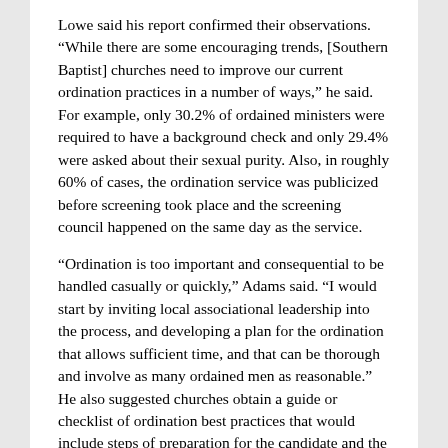Lowe said his report confirmed their observations. “While there are some encouraging trends, [Southern Baptist] churches need to improve our current ordination practices in a number of ways,” he said. For example, only 30.2% of ordained ministers were required to have a background check and only 29.4% were asked about their sexual purity. Also, in roughly 60% of cases, the ordination service was publicized before screening took place and the screening council happened on the same day as the service.
“Ordination is too important and consequential to be handled casually or quickly,” Adams said. “I would start by inviting local associational leadership into the process, and developing a plan for the ordination that allows sufficient time, and that can be thorough and involve as many ordained men as reasonable.” He also suggested churches obtain a guide or checklist of ordination best practices that would include steps of preparation for the candidate and the ordination council.
2. Discussions regarding a candidate’s sexual purity are sparse, but on the rise. Even though sexual purity is not discussed most of the time, the report found that there has been a “significant uptick (49.5%) since 2019.”